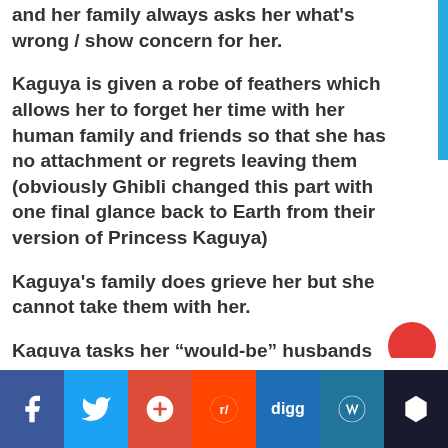and her family always asks her what's wrong / show concern for her.
Kaguya is given a robe of feathers which allows her to forget her time with her human family and friends so that she has no attachment or regrets leaving them (obviously Ghibli changed this part with one final glance back to Earth from their version of Princess Kaguya)
Kaguya's family does grieve her but she cannot take them with her.
Kaguya tasks her “would-be” husbands with impossible quests – Even the
Shares